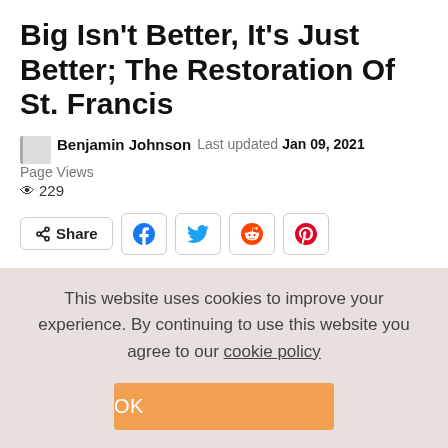Big Isn't Better, It's Just Better; The Restoration Of St. Francis
Benjamin Johnson  Last updated  Jan 09, 2021  Page Views  👁 229
[Figure (other): Social share buttons: Share, Facebook, Twitter, Reddit, Pinterest]
Everybody loves a big painting, in fact one of my professors once said that "big isn't better, it's just better." And he meant that even if the painting is banal and about something uninteresting like shoe laces, if
This website uses cookies to improve your experience. By continuing to use this website you agree to our cookie policy  OK